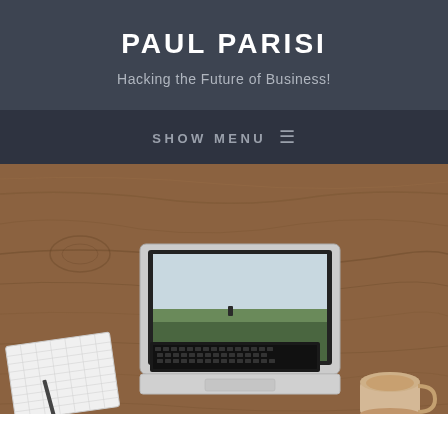PAUL PARISI
Hacking the Future of Business!
SHOW MENU ≡
[Figure (photo): Overhead flat-lay photo of a MacBook laptop open on a wooden desk, with a grid-lined notebook and pencil on the left and a coffee mug on the right.]